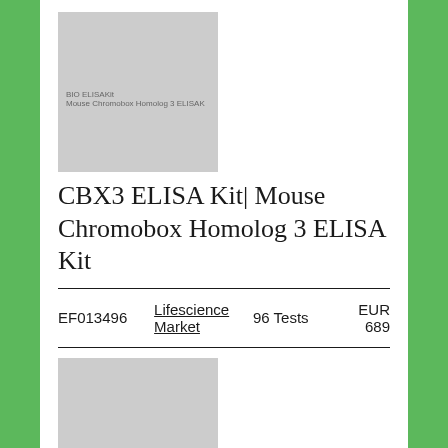[Figure (photo): Product image placeholder for CBX3 ELISA Kit, grey rectangle with small text overlay reading 'BIO ELISAKIT Mouse Chromobox Homolog 3 ELISAK']
CBX3 ELISA Kit| Mouse Chromobox Homolog 3 ELISA Kit
|  |  |  |  |
| --- | --- | --- | --- |
| EF013496 | Lifescience Market | 96 Tests | EUR 689 |
[Figure (photo): Product image placeholder for CBX3 Chromobox Homolog 3 Human Recombinant Protein, grey rectangle with small text overlay reading 'obox Homolog 3 Human Recombinant']
CBX3 Chromobox Homolog 3 Human Recombinant Protein